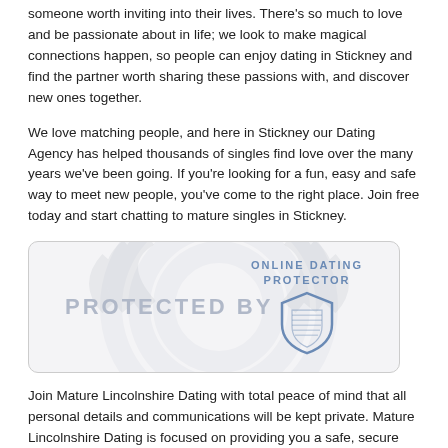someone worth inviting into their lives. There's so much to love and be passionate about in life; we look to make magical connections happen, so people can enjoy dating in Stickney and find the partner worth sharing these passions with, and discover new ones together.
We love matching people, and here in Stickney our Dating Agency has helped thousands of singles find love over the many years we've been going. If you're looking for a fun, easy and safe way to meet new people, you've come to the right place. Join free today and start chatting to mature singles in Stickney.
[Figure (logo): Protected By Online Dating Protector badge with shield logo and wifi/sound wave background]
Join Mature Lincolnshire Dating with total peace of mind that all personal details and communications will be kept private. Mature Lincolnshire Dating is focused on providing you a safe, secure and enjoyable online dating experience.
Putting Your Safety First
All Profiles Checked and Moderated
Dating Safety Advice